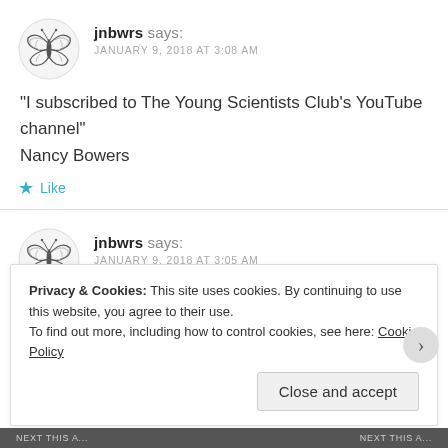[Figure (illustration): Butterfly/moth avatar icon in grayscale sketch style]
jnbwrs says:
JANUARY 9, 2018 AT 3:08 AM
“I subscribed to The Young Scientists Club’s YouTube channel”
Nancy Bowers
★ Like
[Figure (illustration): Butterfly/moth avatar icon in grayscale sketch style]
jnbwrs says:
JANUARY 9, 2018 AT 3:05 AM
Privacy & Cookies: This site uses cookies. By continuing to use this website, you agree to their use.
To find out more, including how to control cookies, see here: Cookie Policy
Close and accept
NEXT THIS A...